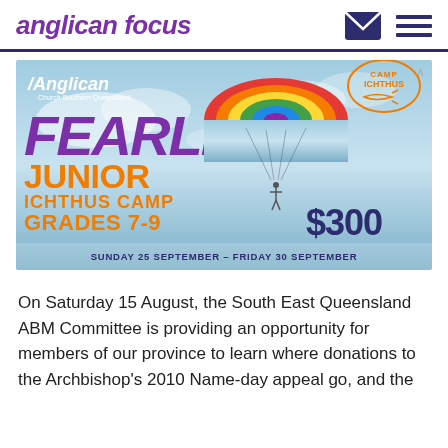anglican focus
[Figure (illustration): Advertisement for Anglican Church Southern Queensland Camp Ichthus - Fearless Junior Ichthus Camp, Grades 7-9, $300, Sunday 25 September – Friday 30 September, with a colorful parachute image]
On Saturday 15 August, the South East Queensland ABM Committee is providing an opportunity for members of our province to learn where donations to the Archbishop's 2010 Name-day appeal go, and the